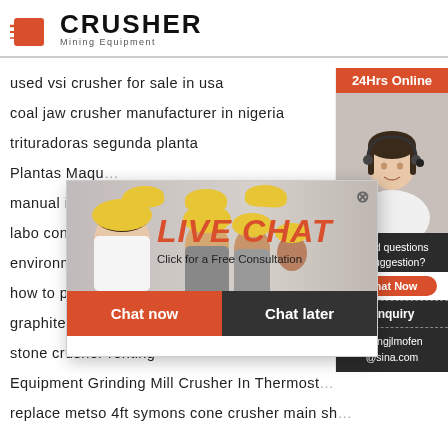[Figure (logo): Crusher Mining Equipment logo with red shopping bag icon and bold CRUSHER text]
used vsi crusher for sale in usa
coal jaw crusher manufacturer in nigeria
trituradoras segunda planta
Plantas Maqu…
manual ice cr…
labo cone cru…
environment…
how to produce dicalcium phosphate from hyd…
graphite production line supplier
stone crusher renting
Equipment Grinding Mill Crusher In Thermost…
replace metso 4ft symons cone crusher main shaft
[Figure (screenshot): Live chat popup overlay with workers in yellow helmets, LIVE CHAT text in red, Chat now and Chat later buttons]
[Figure (photo): 24Hrs Online sidebar with female agent wearing headset]
Need questions & suggestion?
Chat Now
Enquiry
limingjlmofen@sina.com